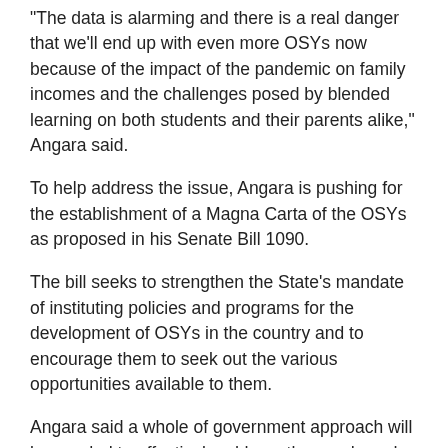"The data is alarming and there is a real danger that we'll end up with even more OSYs now because of the impact of the pandemic on family incomes and the challenges posed by blended learning on both students and their parents alike," Angara said.
To help address the issue, Angara is pushing for the establishment of a Magna Carta of the OSYs as proposed in his Senate Bill 1090.
The bill seeks to strengthen the State's mandate of instituting policies and programs for the development of OSYs in the country and to encourage them to seek out the various opportunities available to them.
Angara said a whole of government approach will be needed to effectively address the needs and concerns of OSYs, with the DepEd, TESDA, CHEd, DOH, DSWD, DOLE and DTI as the agencies leading the charge.
Among the different programs that are envisioned to come out